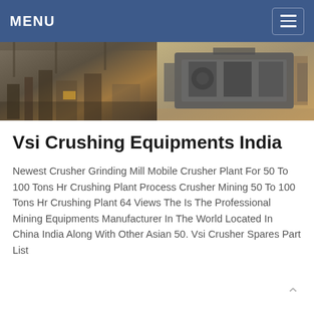MENU
[Figure (photo): Banner showing two industrial images side by side: left is a factory/workshop interior with machinery and equipment, right shows a large grey industrial crusher machine.]
Vsi Crushing Equipments India
Newest Crusher Grinding Mill Mobile Crusher Plant For 50 To 100 Tons Hr Crushing Plant Process Crusher Mining 50 To 100 Tons Hr Crushing Plant 64 Views The Is The Professional Mining Equipments Manufacturer In The World Located In China India Along With Other Asian 50. Vsi Crusher Spares Part List